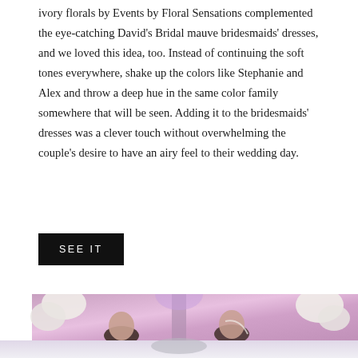ivory florals by Events by Floral Sensations complemented the eye-catching David's Bridal mauve bridesmaids' dresses, and we loved this idea, too. Instead of continuing the soft tones everywhere, shake up the colors like Stephanie and Alex and throw a deep hue in the same color family somewhere that will be seen. Adding it to the bridesmaids' dresses was a clever touch without overwhelming the couple's desire to have an airy feel to their wedding day.
SEE IT
[Figure (photo): Wedding ceremony photo showing a couple at the altar with pink/mauve floral backdrop and white floral arrangements, with a man in a suit below.]